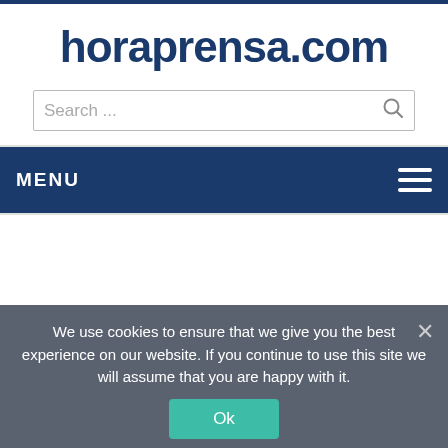horaprensa.com
[Figure (screenshot): Search input box with placeholder text 'Search ...' and a search icon on the right]
MENU
We use cookies to ensure that we give you the best experience on our website. If you continue to use this site we will assume that you are happy with it.
Ok